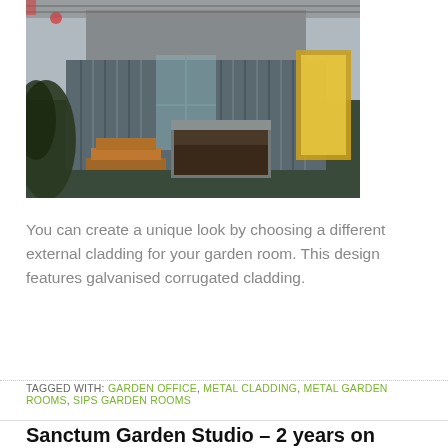[Figure (photo): Exterior of a garden room with galvanised corrugated metal cladding, raised planter beds, timber decking steps, and a yellow interior visible through glazed doors.]
You can create a unique look by choosing a different external cladding for your garden room. This design features galvanised corrugated cladding.
TAGGED WITH: GARDEN OFFICE, METAL CLADDING, METAL GARDEN ROOMS, SIPS GARDEN ROOMS
Sanctum Garden Studio – 2 years on